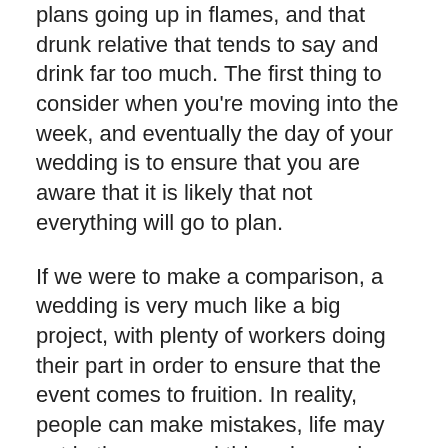plans going up in flames, and that drunk relative that tends to say and drink far too much. The first thing to consider when you're moving into the week, and eventually the day of your wedding is to ensure that you are aware that it is likely that not everything will go to plan.
If we were to make a comparison, a wedding is very much like a big project, with plenty of workers doing their part in order to ensure that the event comes to fruition. In reality, people can make mistakes, life may get in the way, and things beyond our control can start to play a role in how the day shapes up.
It's important to do your best to be aware that there's a good chance that not all will go to plan, and it's even more crucial to ensure that you do not lose sight of what the day is about, celebrating the union between you and your loved one. If you keep that in mind, you will realise that all